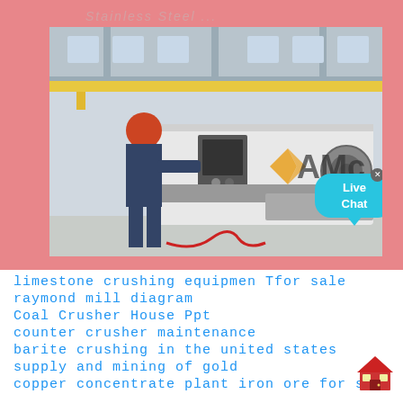Stainless Steel ...
[Figure (photo): Worker in red hard hat operating a large CNC lathe machine in an industrial factory setting. The AMC company logo and 'Live Chat' button overlay the image.]
limestone crushing equipmen Tfor sale
raymond mill diagram
Coal Crusher House Ppt
counter crusher maintenance
barite crushing in the united states
supply and mining of gold
copper concentrate plant iron ore for sale